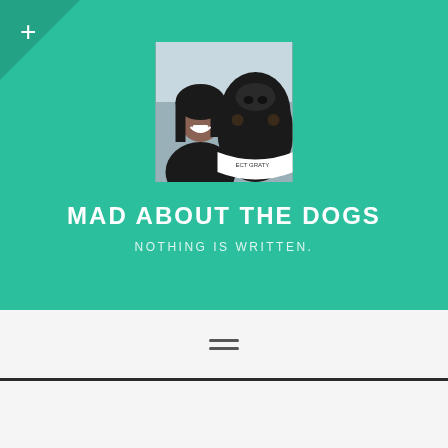[Figure (photo): Profile photo of a woman smiling next to a large black dog wearing a bandana, taken as a selfie outdoors]
MAD ABOUT THE DOGS
NOTHING IS WRITTEN.
[Figure (other): Hamburger menu icon with two horizontal lines]
VANITY SEARCHES AND THE USEFULNESS OF GOOGLE ALERTS